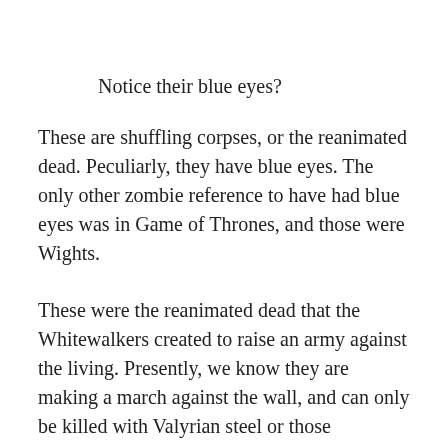Notice their blue eyes?
These are shuffling corpses, or the reanimated dead. Peculiarly, they have blue eyes. The only other zombie reference to have had blue eyes was in Game of Thrones, and those were Wights.
These were the reanimated dead that the Whitewalkers created to raise an army against the living. Presently, we know they are making a march against the wall, and can only be killed with Valyrian steel or those Dragonshard knives. The wights in Diablo III however, can